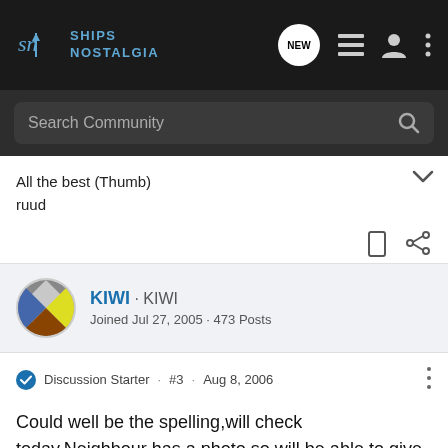SHIPS NOSTALGIA
Search Community
All the best (Thumb)
ruud
KIWI · KIWI
Joined Jul 27, 2005 · 473 Posts
Discussion Starter · #3 · Aug 8, 2006
Could well be the spelling,will check today.Neighbour has a photo so will be able to give more information.Kiwi